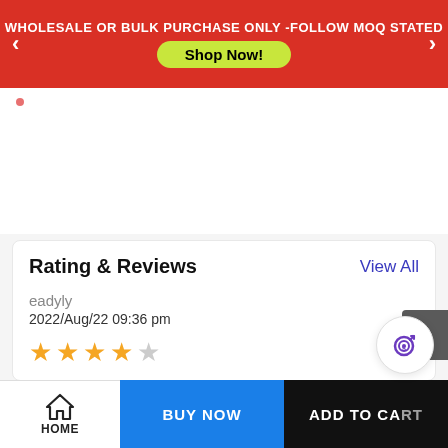WHOLESALE OR BULK PURCHASE ONLY -FOLLOW MOQ STATED  Shop Now!
[Figure (screenshot): Small pink dot indicator below the red banner]
[Figure (screenshot): White blank area - product image region]
Rating & Reviews
View All
eadyly
2022/Aug/22 09:36 pm
[Figure (other): 4 out of 5 stars rating: 4 filled gold stars and 1 empty star]
HOME   BUY NOW   ADD TO CART